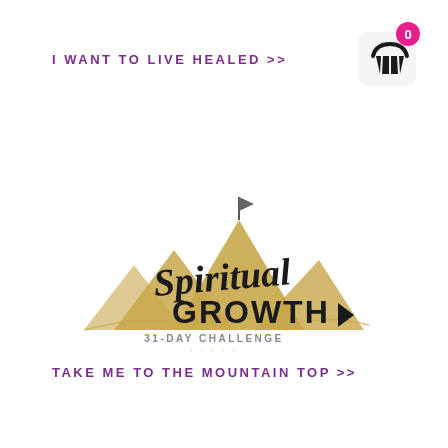I WANT TO LIVE HEALED >>
[Figure (logo): Shopping cart icon with badge showing 0]
[Figure (logo): Spiritual Growth 31-Day Challenge logo with mountain silhouette and script/bold text]
TAKE ME TO THE MOUNTAIN TOP >>